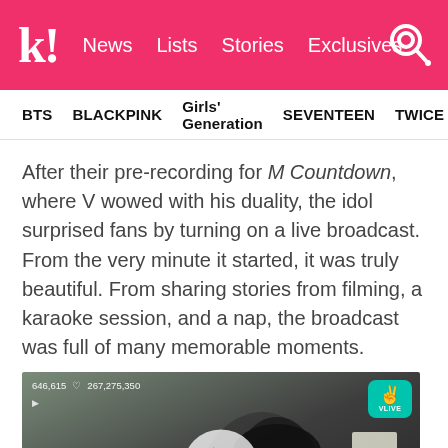k! News  Lists  Stories  Exclusives
BTS  BLACKPINK  Girls' Generation  SEVENTEEN  TWICE
After their pre-recording for M Countdown, where V wowed with his duality, the idol surprised fans by turning on a live broadcast. From the very minute it started, it was truly beautiful. From sharing stories from filming, a karaoke session, and a nap, the broadcast was full of many memorable moments.
[Figure (screenshot): VLIVE screenshot showing a person with dark hair, with viewer count 646,615 and heart count 267,275,350, a VLIVE badge in the top right corner, and a play button overlay in the center.]